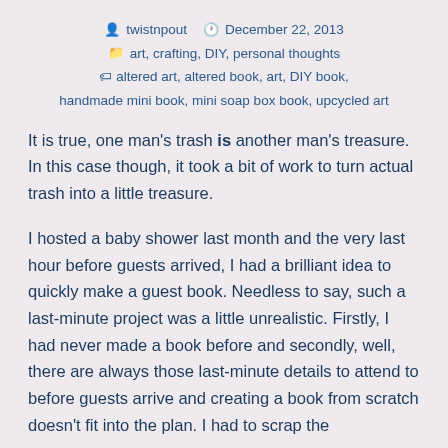twistnpout  December 22, 2013  art, crafting, DIY, personal thoughts  altered art, altered book, art, DIY book, handmade mini book, mini soap box book, upcycled art
It is true, one man's trash is another man's treasure. In this case though, it took a bit of work to turn actual trash into a little treasure.
I hosted a baby shower last month and the very last hour before guests arrived, I had a brilliant idea to quickly make a guest book. Needless to say, such a last-minute project was a little unrealistic. Firstly, I had never made a book before and secondly, well, there are always those last-minute details to attend to before guests arrive and creating a book from scratch doesn't fit into the plan. I had to scrap the